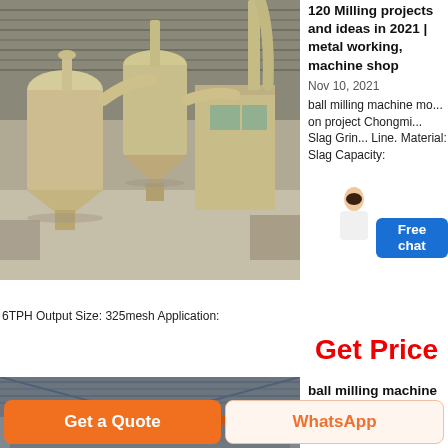[Figure (photo): Industrial milling/grinding equipment inside a large warehouse. Large beige/cream colored cyclone separators and dust collectors on concrete floor with corrugated metal roof.]
120 Milling projects and ideas in 2021 | metal working, machine shop
Nov 10, 2021
ball milling machine mo... on project Chongmi... Slag Grin... Line. Material: Slag Capacity:
6TPH Output Size: 325mesh Application:
Get Price
[Figure (photo): Interior of industrial building with overhead crane visible, metal roof structure, large open space.]
ball milling machine model
Get a Quote
WhatsApp